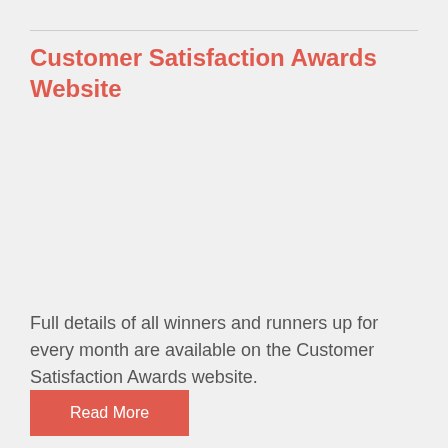Customer Satisfaction Awards Website
Full details of all winners and runners up for every month are available on the Customer Satisfaction Awards website.
Read More